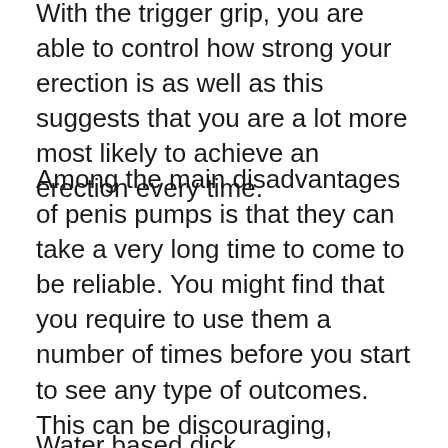With the trigger grip, you are able to control how strong your erection is as well as this suggests that you are a lot more most likely to achieve an erection every time.
Among the main disadvantages of penis pumps is that they can take a very long time to come to be reliable. You might find that you require to use them a number of times before you start to see any type of outcomes. This can be discouraging, particularly if you resemble most guys that just have limited sources. Due to this, numerous guys look in the direction of the penis pump vacuum pumps as an alternative.
Water based dick...